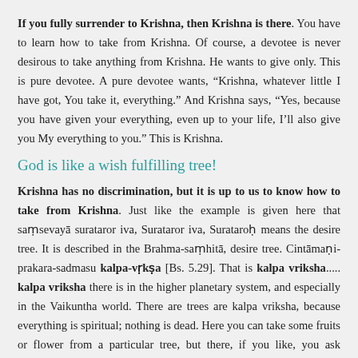If you fully surrender to Krishna, then Krishna is there. You have to learn how to take from Krishna. Of course, a devotee is never desirous to take anything from Krishna. He wants to give only. This is pure devotee. A pure devotee wants, “Krishna, whatever little I have got, You take it, everything.” And Krishna says, “Yes, because you have given your everything, even up to your life, I’ll also give you My everything to you.” This is Krishna.
God is like a wish fulfilling tree!
Krishna has no discrimination, but it is up to us to know how to take from Krishna. Just like the example is given here that saṃsevayā surataror iva, Surataror iva, Surataroḥ means the desire tree. It is described in the Brahma-saṃhitā, desire tree. Cintāmaṇi-prakara-sadmasu kalpa-vṛkṣa [Bs. 5.29]. That is kalpa vriksha..... kalpa vriksha there is in the higher planetary system, and especially in the Vaikuntha world. There are trees are kalpa vriksha, because everything is spiritual; nothing is dead. Here you can take some fruits or flower from a particular tree, but there, if you like, you ask kachorī and samośā from a